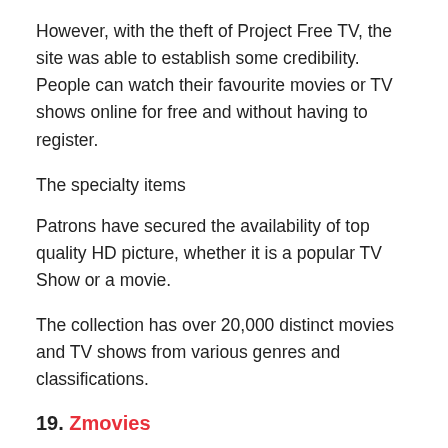However, with the theft of Project Free TV, the site was able to establish some credibility. People can watch their favourite movies or TV shows online for free and without having to register.
The specialty items
Patrons have secured the availability of top quality HD picture, whether it is a popular TV Show or a movie.
The collection has over 20,000 distinct movies and TV shows from various genres and classifications.
19. Zmovies
This website will allow all visitors to view online high definition movies for free, and they will be able to do so without registering or revealing any personal information.